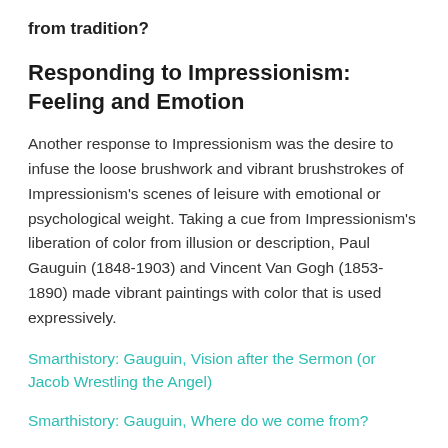from tradition?
Responding to Impressionism: Feeling and Emotion
Another response to Impressionism was the desire to infuse the loose brushwork and vibrant brushstrokes of Impressionism's scenes of leisure with emotional or psychological weight. Taking a cue from Impressionism's liberation of color from illusion or description, Paul Gauguin (1848-1903) and Vincent Van Gogh (1853-1890) made vibrant paintings with color that is used expressively.
Smarthistory: Gauguin, Vision after the Sermon (or Jacob Wrestling the Angel)
Smarthistory: Gauguin, Where do we come from?